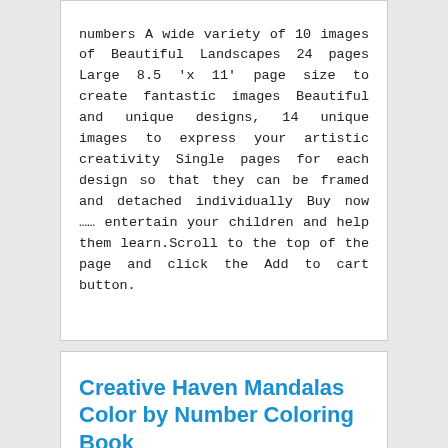numbers A wide variety of 10 images of Beautiful Landscapes 24 pages Large 8.5 'x 11' page size to create fantastic images Beautiful and unique designs, 14 unique images to express your artistic creativity Single pages for each design so that they can be framed and detached individually Buy now ...... entertain your children and help them learn.Scroll to the top of the page and click the Add to cart button.
Creative Haven Mandalas Color by Number Coloring Book
[Figure (logo): Creative Haven banner logo in blue tones with a colorful flame/torch icon in the center]